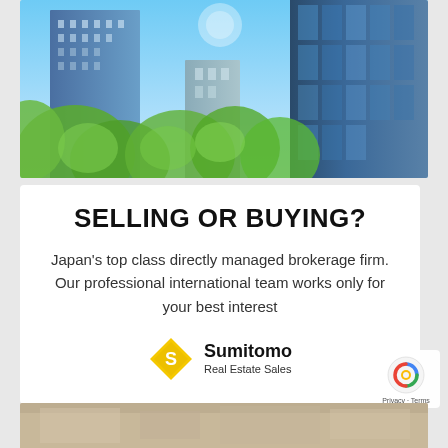[Figure (photo): Upward-looking photo of modern glass skyscrapers and green trees against a blue sky in Japan]
SELLING OR BUYING?
Japan's top class directly managed brokerage firm. Our professional international team works only for your best interest
[Figure (logo): Sumitomo Real Estate Sales logo — yellow diamond shape with an S, beside the company name]
[Figure (photo): Partial bottom photo of an interior space, partially visible]